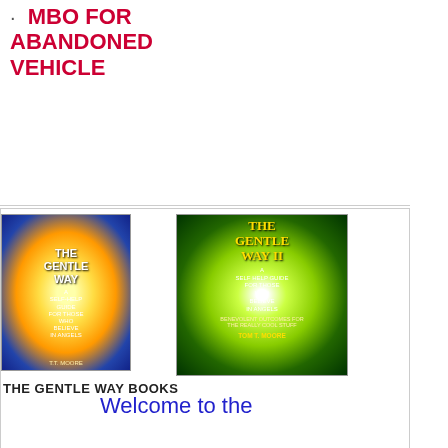· MBO FOR ABANDONED VEHICLE
[Figure (photo): Two book covers side by side: 'The Gentle Way' (book 1, blue/gold radial cover) and 'The Gentle Way II' (book 2, green radial cover with subtitle 'A Self Help Guide for Those Who Believe in Angels')]
THE GENTLE WAY BOOKS
Welcome to the Benevolent Outcomes Blog, and welcome to everyone who subscribed in the past week. This